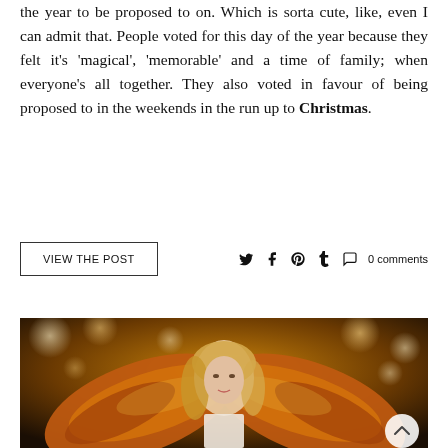the year to be proposed to on. Which is sorta cute, like, even I can admit that. People voted for this day of the year because they felt it's 'magical', 'memorable' and a time of family; when everyone's all together. They also voted in favour of being proposed to in the weekends in the run up to Christmas.
VIEW the POST
0 comments
[Figure (photo): A woman with long blonde hair wearing gold angel wings on a runway or stage, with bokeh golden lights in the background.]